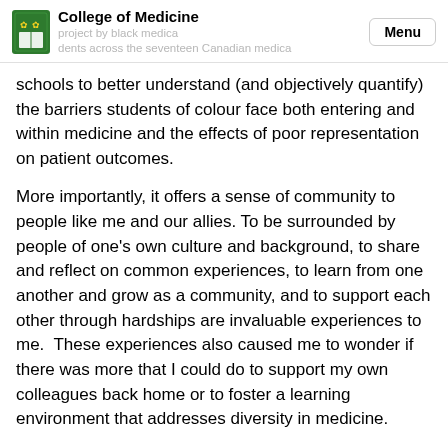College of Medicine
schools to better understand (and objectively quantify) the barriers students of colour face both entering and within medicine and the effects of poor representation on patient outcomes.
More importantly, it offers a sense of community to people like me and our allies. To be surrounded by people of one's own culture and background, to share and reflect on common experiences, to learn from one another and grow as a community, and to support each other through hardships are invaluable experiences to me.  These experiences also caused me to wonder if there was more that I could do to support my own colleagues back home or to foster a learning environment that addresses diversity in medicine.
Looking back on my time in Medicine, there were a few